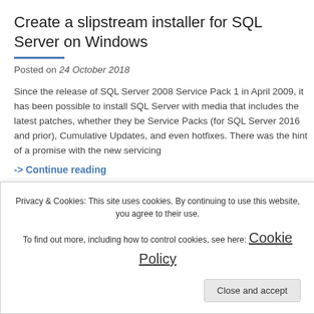Create a slipstream installer for SQL Server on Windows
Posted on 24 October 2018
Since the release of SQL Server 2008 Service Pack 1 in April 2009, it has been possible to install SQL Server with media that includes the latest patches, whether they be Service Packs (for SQL Server 2016 and prior), Cumulative Updates, and even hotfixes. There was the hint of a promise with the new servicing
-> Continue reading
Tagged Beginner, Compatibility, setup, slipstream, SQL
Privacy & Cookies: This site uses cookies. By continuing to use this website, you agree to their use.
To find out more, including how to control cookies, see here: Cookie Policy
Close and accept